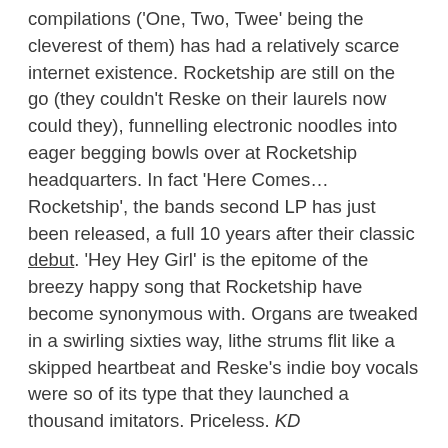compilations ('One, Two, Twee' being the cleverest of them) has had a relatively scarce internet existence. Rocketship are still on the go (they couldn't Reske on their laurels now could they), funnelling electronic noodles into eager begging bowls over at Rocketship headquarters. In fact 'Here Comes…Rocketship', the bands second LP has just been released, a full 10 years after their classic debut. 'Hey Hey Girl' is the epitome of the breezy happy song that Rocketship have become synonymous with. Organs are tweaked in a swirling sixties way, lithe strums flit like a skipped heartbeat and Reske's indie boy vocals were so of its type that they launched a thousand imitators. Priceless. KD
Rocketship – Hey, Hey, Girl
More Info: Official & Myspace
Buy Album: Here Comes…Rocketship